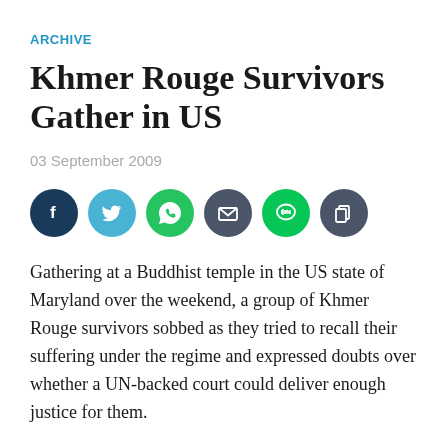ARCHIVE
Khmer Rouge Survivors Gather in US
03 September 2009
[Figure (infographic): Row of six social sharing icon buttons: Facebook (dark navy circle), Twitter (light blue circle), WhatsApp (green circle), Email (dark grey circle), LINE (bright green circle), Copy (dark grey circle)]
Gathering at a Buddhist temple in the US state of Maryland over the weekend, a group of Khmer Rouge survivors sobbed as they tried to recall their suffering under the regime and expressed doubts over whether a UN-backed court could deliver enough justice for them.